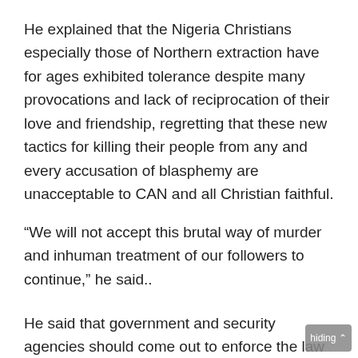He explained that the Nigeria Christians especially those of Northern extraction have for ages exhibited tolerance despite many provocations and lack of reciprocation of their love and friendship, regretting that these new tactics for killing their people from any and every accusation of blasphemy are unacceptable to CAN and all Christian faithful.
“We will not accept this brutal way of murder and inhuman treatment of our followers to continue,” he said..
He said that government and security agencies should come out to enforce the law on every murderer hiding